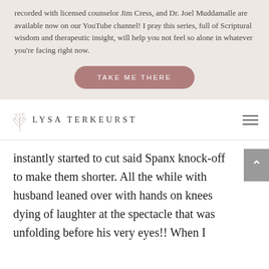recorded with licensed counselor Jim Cress, and Dr. Joel Muddamalle are available now on our YouTube channel! I pray this series, full of Scriptural wisdom and therapeutic insight, will help you not feel so alone in whatever you're facing right now.
TAKE ME THERE
[Figure (logo): Lysa TerKeurst logo with leaf botanical illustration and serif uppercase text]
instantly started to cut said Spanx knock-off to make them shorter. All the while with husband leaned over with hands on knees dying of laughter at the spectacle that was unfolding before his very eyes!! When I